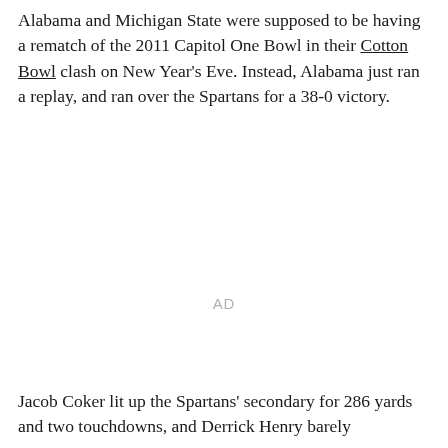Alabama and Michigan State were supposed to be having a rematch of the 2011 Capitol One Bowl in their Cotton Bowl clash on New Year's Eve. Instead, Alabama just ran a replay, and ran over the Spartans for a 38-0 victory.
[Figure (other): Advertisement placeholder showing 'AD' text in light gray]
Jacob Coker lit up the Spartans' secondary for 286 yards and two touchdowns, and Derrick Henry barely